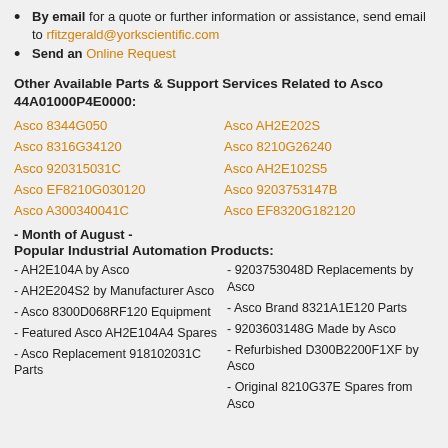By email for a quote or further information or assistance, send email to rfitzgerald@yorkscientific.com
Send an Online Request
Other Available Parts & Support Services Related to Asco 44A01000P4E0000:
Asco 8344G050 | Asco AH2E202S | Asco 8316G34120 | Asco 8210G26240 | Asco 920315031C | Asco AH2E102S5 | Asco EF8210G030120 | Asco 9203753147B | Asco A300340041C | Asco EF8320G182120
- Month of August -
Popular Industrial Automation Products:
- AH2E104A by Asco
- 9203753048D Replacements by Asco
- AH2E204S2 by Manufacturer Asco
- Asco Brand 8321A1E120 Parts
- Asco 8300D068RF120 Equipment
- 9203603148G Made by Asco
- Featured Asco AH2E104A4 Spares
- Refurbished D300B2200F1XF by Asco
- Asco Replacement 918102031C Parts
- Original 8210G37E Spares from Asco